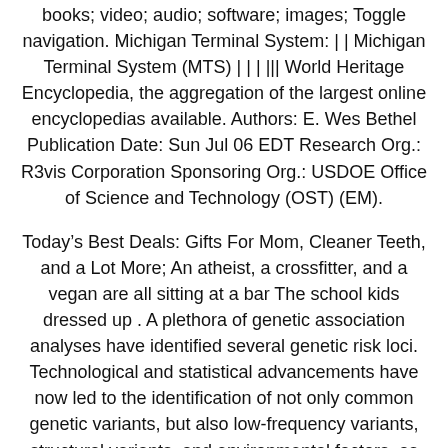books; video; audio; software; images; Toggle navigation. Michigan Terminal System: | | Michigan Terminal System (MTS) | | | ||| World Heritage Encyclopedia, the aggregation of the largest online encyclopedias available. Authors: E. Wes Bethel Publication Date: Sun Jul 06 EDT Research Org.: R3vis Corporation Sponsoring Org.: USDOE Office of Science and Technology (OST) (EM).
Today’s Best Deals: Gifts For Mom, Cleaner Teeth, and a Lot More; An atheist, a crossfitter, and a vegan are all sitting at a bar The school kids dressed up . A plethora of genetic association analyses have identified several genetic risk loci. Technological and statistical advancements have now led to the identification of not only common genetic variants, but also low-frequency variants, structural variants, and environmental factors, as well as multi-omics variations that affect the phenotypic variance of